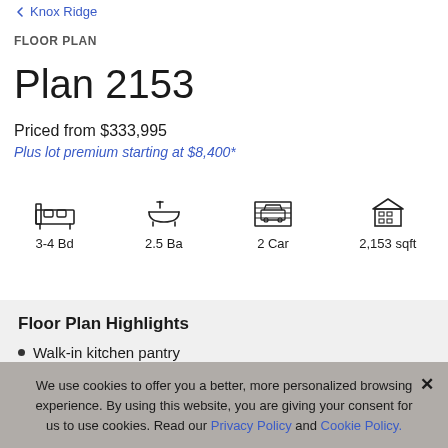Knox Ridge
FLOOR PLAN
Plan 2153
Priced from $333,995
Plus lot premium starting at $8,400*
[Figure (infographic): Four icons: bed (3-4 Bd), bathtub (2.5 Ba), garage/car (2 Car), house (2,153 sqft)]
Floor Plan Highlights
Walk-in kitchen pantry
We use cookies to offer you a better, more personalized browsing experience. By using this website, you are giving your consent for us to use cookies. Read our Privacy Policy and Cookie Policy.